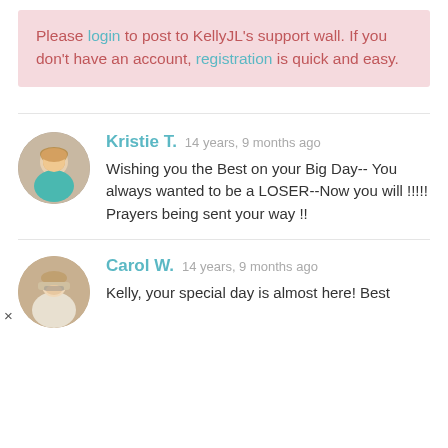Please login to post to KellyJL's support wall. If you don't have an account, registration is quick and easy.
Kristie T. 14 years, 9 months ago — Wishing you the Best on your Big Day-- You always wanted to be a LOSER--Now you will !!!!! Prayers being sent your way !!
Carol W. 14 years, 9 months ago — Kelly, your special day is almost here! Best